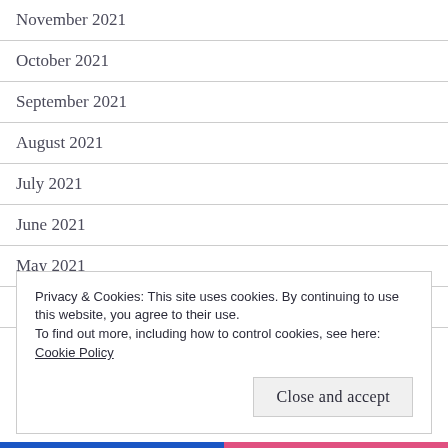November 2021
October 2021
September 2021
August 2021
July 2021
June 2021
May 2021
April 2021
March 2021
Privacy & Cookies: This site uses cookies. By continuing to use this website, you agree to their use.
To find out more, including how to control cookies, see here:
Cookie Policy
Close and accept